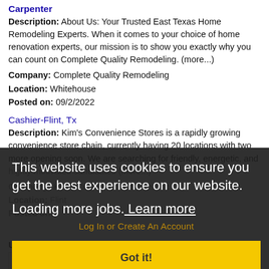Carpenter
Description: About Us: Your Trusted East Texas Home Remodeling Experts. When it comes to your choice of home renovation experts, our mission is to show you exactly why you can count on Complete Quality Remodeling. (more...)
Company: Complete Quality Remodeling
Location: Whitehouse
Posted on: 09/2/2022
Cashier-Flint, Tx
Description: Kim's Convenience Stores is a rapidly growing convenience store chain, currently having 20 locations with two more opening soon. We are searching for friendly, energetic, and highly motivated candidates (more...)
Company: Kim's Convenience Stores Inc
Location: Flint
Posted on:
This website uses cookies to ensure you get the best experience on our website.
Loading more jobs. Learn more
Log In or Create An Account
Got it!
Username: